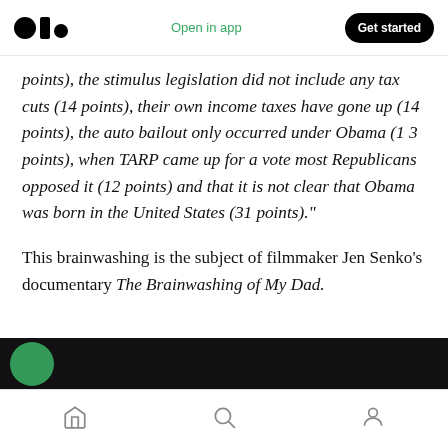Open in app | Get started
points), the stimulus legislation did not include any tax cuts (14 points), their own income taxes have gone up (14 points), the auto bailout only occurred under Obama (13 points), when TARP came up for a vote most Republicans opposed it (12 points) and that it is not clear that Obama was born in the United States (31 points).”
This brainwashing is the subject of filmmaker Jen Senko’s documentary The Brainwashing of My Dad.
[Figure (photo): Dark background image strip with a green circular element partially visible]
Home | Search | Profile